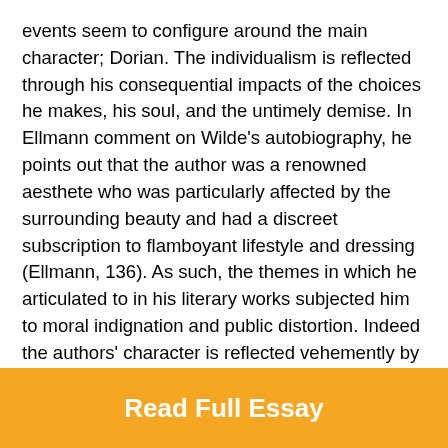events seem to configure around the main character; Dorian. The individualism is reflected through his consequential impacts of the choices he makes, his soul, and the untimely demise. In Ellmann comment on Wilde's autobiography, he points out that the author was a renowned aesthete who was particularly affected by the surrounding beauty and had a discreet subscription to flamboyant lifestyle and dressing (Ellmann, 136). As such, the themes in which he articulated to in his literary works subjected him to moral indignation and public distortion. Indeed the authors' character is reflected vehemently by the personalities of the different characters in the book. However, Wilde was able to hit the mark with his peculiar style and wit in executing his works and realized a tremendous success. Although all the characters seem to have endeared in shaping the personality of the author, Lord Henry's character best reflects Wilde's personality.
Read Full Essay